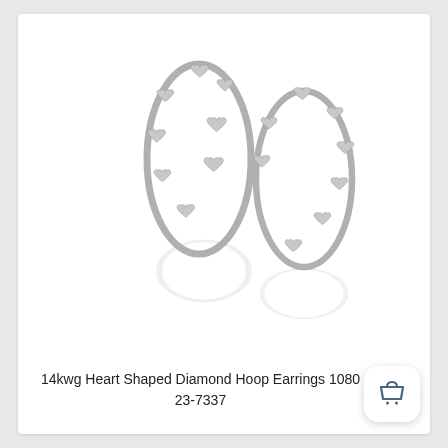[Figure (photo): Two 14k white gold heart shaped diamond hoop earrings with reflections below, photographed on white background.]
14kwg Heart Shaped Diamond Hoop Earrings 1080 23-7337